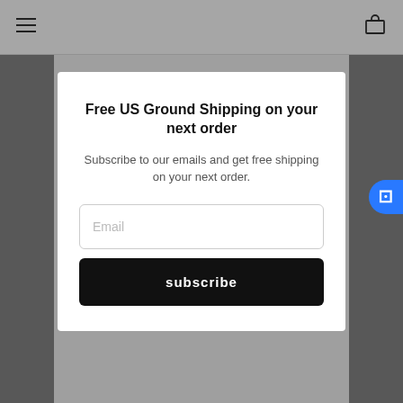Navigation bar with hamburger menu and cart icon
Free US Ground Shipping on your next order
Subscribe to our emails and get free shipping on your next order.
Email
subscribe